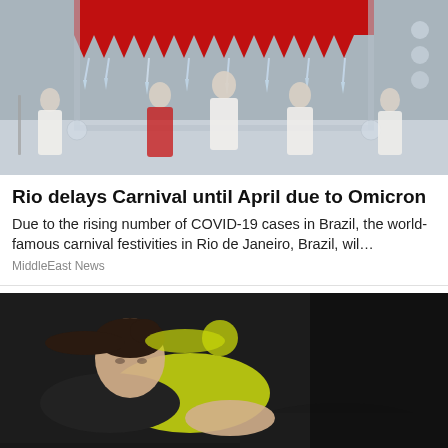[Figure (photo): Carnival performers in white and red costumes under ornate red tent with crystal/icicle decorations, Rio de Janeiro Carnival scene]
Rio delays Carnival until April due to Omicron
Due to the rising number of COVID-19 cases in Brazil, the world-famous carnival festivities in Rio de Janeiro, Brazil, wil…
MiddleEast News
[Figure (photo): Athletic woman in yellow sports top and black pants doing sit-ups/crunches on a blue mat on dark pavement]